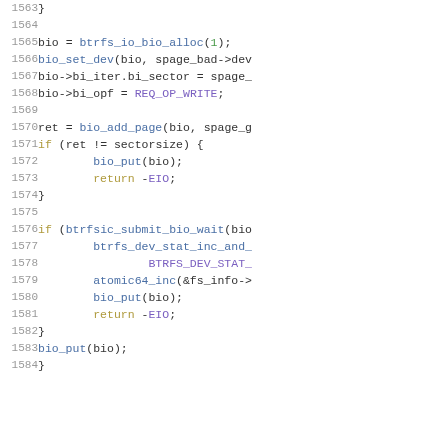Source code listing, lines 1563-1584, C kernel code (btrfs I/O bio operations)